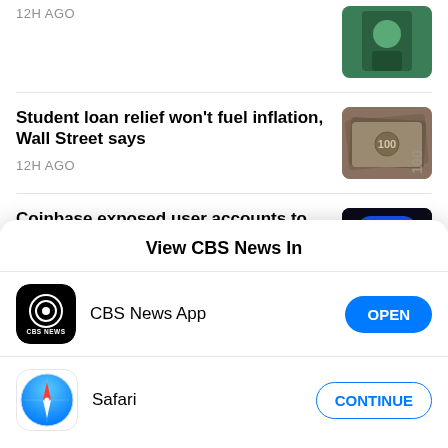12H AGO
[Figure (photo): Partial thumbnail of a person at Starbucks counter]
Student loan relief won't fuel inflation, Wall Street says
12H AGO
[Figure (photo): Photo of US dollar bills fanned out]
Coinbase exposed user accounts to thieves, lawsuit claims
13H AGO
[Figure (photo): Coinbase app icon with blue background and white C logo]
View CBS News In
[Figure (logo): CBS News App icon - black square with CBS eye logo and CBS NEWS text]
CBS News App
OPEN
[Figure (logo): Safari browser icon - compass with red/white needle]
Safari
CONTINUE